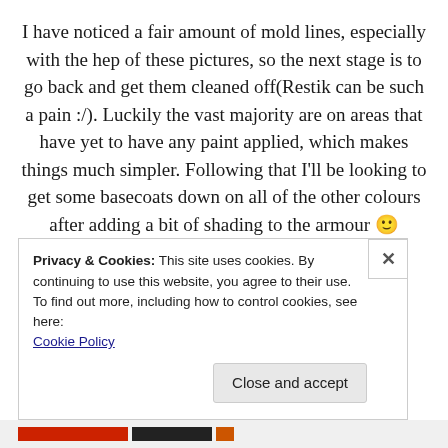I have noticed a fair amount of mold lines, especially with the hep of these pictures, so the next stage is to go back and get them cleaned off(Restik can be such a pain :/). Luckily the vast majority are on areas that have yet to have any paint applied, which makes things much simpler. Following that I'll be looking to get some basecoats down on all of the other colours after adding a bit of shading to the armour 🙂
Privacy & Cookies: This site uses cookies. By continuing to use this website, you agree to their use.
To find out more, including how to control cookies, see here: Cookie Policy